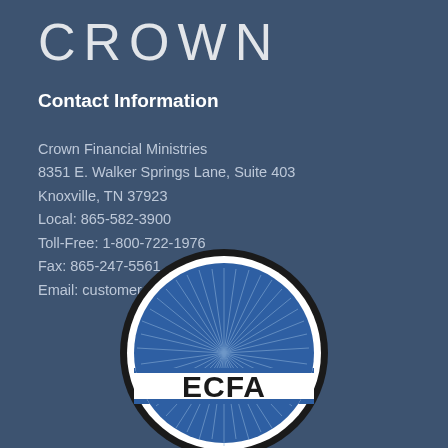CROWN
Contact Information
Crown Financial Ministries
8351 E. Walker Springs Lane, Suite 403
Knoxville, TN 37923
Local: 865-582-3900
Toll-Free: 1-800-722-1976
Fax: 865-247-5561
Email: customercare@crown.org
[Figure (logo): ECFA (Evangelical Council for Financial Accountability) circular logo with blue background, radiating lines, and bold black ECFA text on white band]